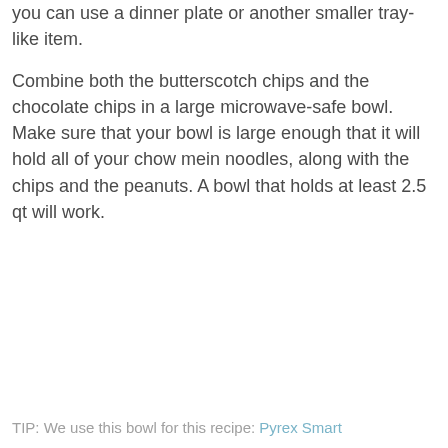you can use a dinner plate or another smaller tray-like item.
Combine both the butterscotch chips and the chocolate chips in a large microwave-safe bowl. Make sure that your bowl is large enough that it will hold all of your chow mein noodles, along with the chips and the peanuts. A bowl that holds at least 2.5 qt will work.
TIP: We use this bowl for this recipe: Pyrex Smart